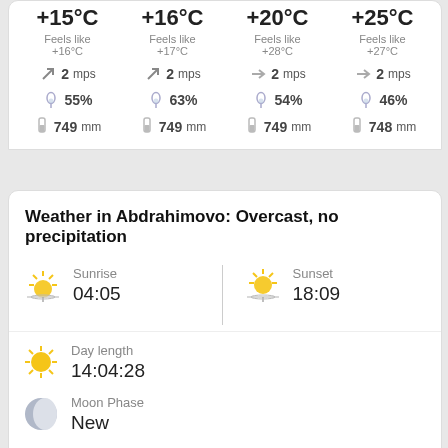+15°C Feels like +16°C | +16°C Feels like +17°C | +20°C Feels like +28°C | +25°C Feels like +27°C
Wind: 2 mps | 2 mps | 2 mps | 2 mps
Humidity: 55% | 63% | 54% | 46%
Pressure: 749 mm | 749 mm | 749 mm | 748 mm
Weather in Abdrahimovo: Overcast, no precipitation
Sunrise
04:05
Sunset
18:09
Day length
14:04:28
Moon Phase
New
HOURLY